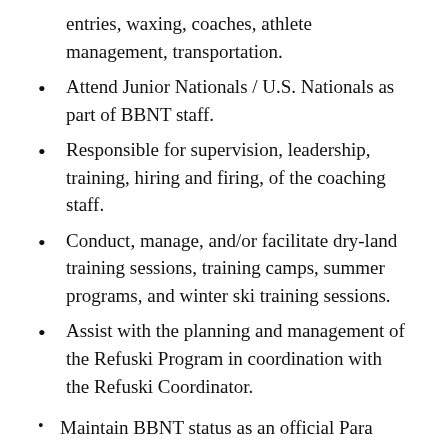entries, waxing, coaches, athlete management, transportation.
Attend Junior Nationals / U.S. Nationals as part of BBNT staff.
Responsible for supervision, leadership, training, hiring and firing, of the coaching staff.
Conduct, manage, and/or facilitate dry-land training sessions, training camps, summer programs, and winter ski training sessions.
Assist with the planning and management of the Refuski Program in coordination with the Refuski Coordinator.
Maintain BBNT status as an official Para Nordic Club and provide administrator athlete…